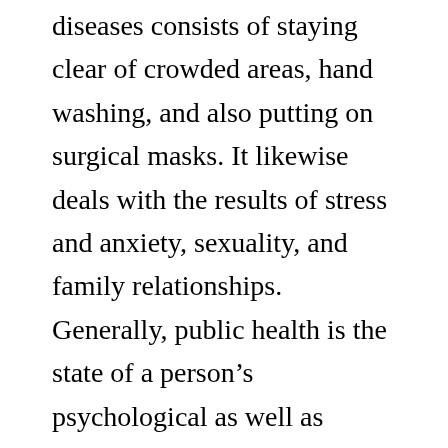diseases consists of staying clear of crowded areas, hand washing, and also putting on surgical masks. It likewise deals with the results of stress and anxiety, sexuality, and family relationships. Generally, public health is the state of a person's psychological as well as emotional wellness.
Health is a necessary source permanently. The Globe Watch Institute (THAT) specifies health as “complete physical, mental, and social well-being, devoid of disease.” Its goal